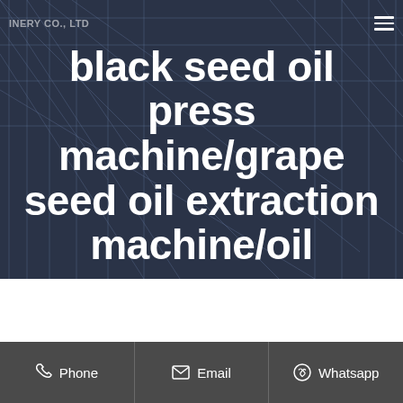INERY CO., LTD
black seed oil press machine/grape seed oil extraction machine/oil
Phone  Email  Whatsapp